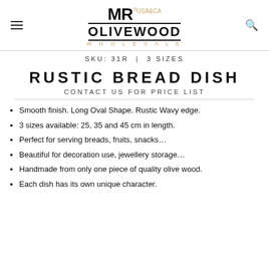MR® USA&CA OLIVEWOOD WHOLESALE
SKU: 31R | 3 SIZES
RUSTIC BREAD DISH
CONTACT US FOR PRICE LIST
Smooth finish. Long Oval Shape. Rustic Wavy edge.
3 sizes available: 25, 35 and 45 cm in length.
Perfect for serving breads, fruits, snacks...
Beautiful for decoration use, jewellery storage...
Handmade from only one piece of quality olive wood.
Each dish has its own unique character.